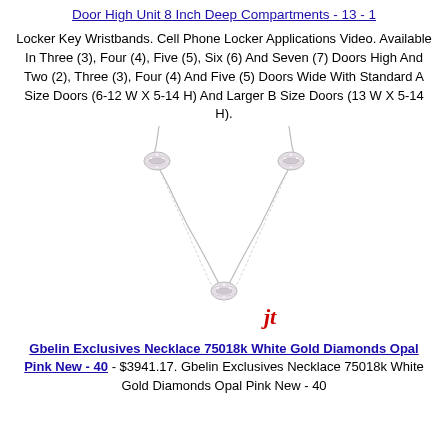Door High Unit 8 Inch Deep Compartments - 13 - 1
Locker Key Wristbands. Cell Phone Locker Applications Video. Available In Three (3), Four (4), Five (5), Six (6) And Seven (7) Doors High And Two (2), Three (3), Four (4) And Five (5) Doors Wide With Standard A Size Doors (6-12 W X 5-14 H) And Larger B Size Doors (13 W X 5-14 H).
[Figure (photo): Photo of a Gbelin Exclusives Necklace 75018k White Gold Diamonds Opal Pink, showing a delicate chain necklace with three decorative bead/rondelle elements, with a red italic brand logo mark at bottom right.]
Gbelin Exclusives Necklace 75018k White Gold Diamonds Opal Pink New - 40 - $3941.17. Gbelin Exclusives Necklace 75018k White Gold Diamonds Opal Pink New - 40